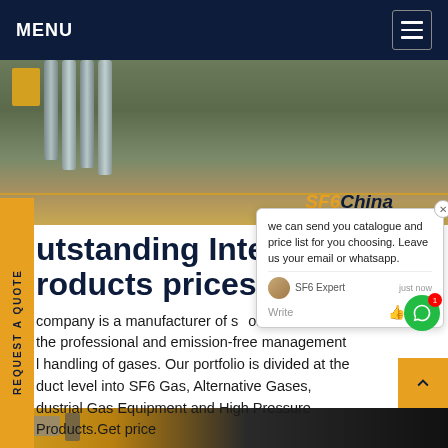MENU
[Figure (photo): Hero photo showing industrial gas cylinders and a truck at a facility, with 'SF6China' text overlay in orange italics]
REQUEST A QUOTE
[Figure (screenshot): Chat popup overlay: 'we can send you catalogue and price list for you choosing. Leave us your email or whatsapp.' SF6 Expert · just now. Write icons.]
Outstanding Integrated products prices
company is a manufacturer of solutions the professional and emission-free management handling of gases. Our portfolio is divided at the duct level into SF6 Gas, Alternative Gases, dustrial Gas Equipment and High Pressure Products.Get price